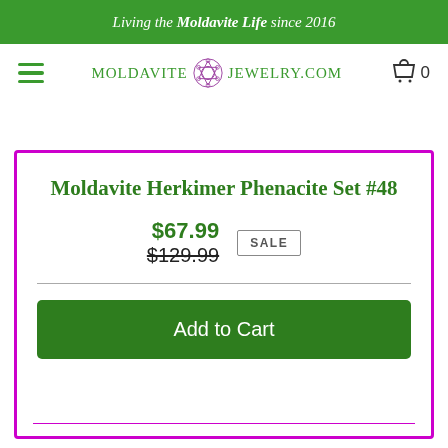Living the Moldavite Life since 2016
[Figure (logo): MoldaviteJewelry.com logo with hamburger menu and cart icon showing 0 items]
Moldavite Herkimer Phenacite Set #48
$67.99 (sale price), $129.99 (original price crossed out), SALE badge
Add to Cart